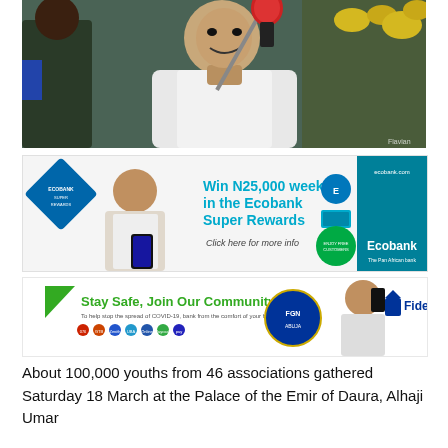[Figure (photo): Man in white robe speaking at a red-capped microphone, smiling, with person in dark clothing visible to the left and yellow flowers in background. Watermark 'Flavian' visible at bottom right.]
[Figure (photo): Ecobank advertisement banner: 'Win N25,000 weekly in the Ecobank Super Rewards. Click here for more info.' Features a young man with a smartphone, Ecobank logo and app icons on the right side with a teal/blue sidebar.]
[Figure (photo): Fidelity Bank advertisement: 'Stay Safe, Join Our Community. To help stop the spread of COVID-19, bank from the comfort of your home.' Features colored app icons, a smiling person with phone, and Fidelity logo.]
About 100,000 youths from 46 associations gathered Saturday 18 March at the Palace of the Emir of Daura, Alhaji Umar